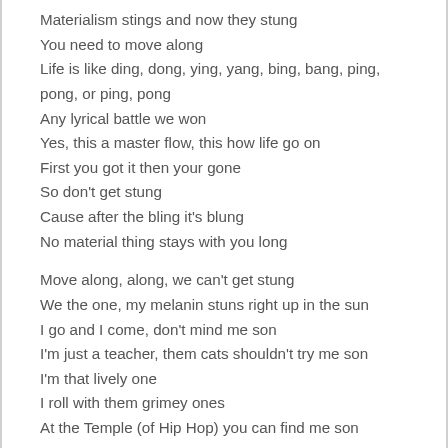Materialism stings and now they stung
You need to move along
Life is like ding, dong, ying, yang, bing, bang, ping, pong, or ping, pong
Any lyrical battle we won
Yes, this a master flow, this how life go on
First you got it then your gone
So don't get stung
Cause after the bling it's blung
No material thing stays with you long
Move along, along, we can't get stung
We the one, my melanin stuns right up in the sun
I go and I come, don't mind me son
I'm just a teacher, them cats shouldn't try me son
I'm that lively one
I roll with them grimey ones
At the Temple (of Hip Hop) you can find me son